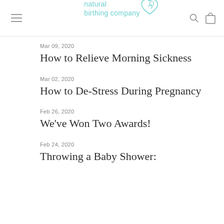natural birthing company
Mar 09, 2020
How to Relieve Morning Sickness
Mar 02, 2020
How to De-Stress During Pregnancy
Feb 26, 2020
We've Won Two Awards!
Feb 24, 2020
Throwing a Baby Shower: